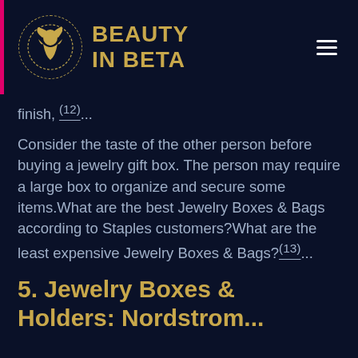BEAUTY IN BETA
finish, (12)...
Consider the taste of the other person before buying a jewelry gift box. The person may require a large box to organize and secure some items.What are the best Jewelry Boxes & Bags according to Staples customers?What are the least expensive Jewelry Boxes & Bags?(13)...
5. Jewelry Boxes & Holders: Nordstrom...